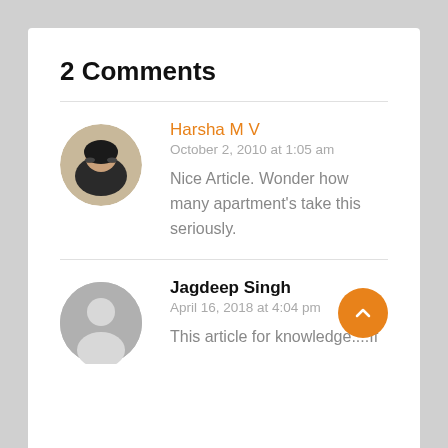2 Comments
Harsha M V
October 2, 2010 at 1:05 am
Nice Article. Wonder how many apartment's take this seriously.
Jagdeep Singh
April 16, 2018 at 4:04 pm
This article for knowledge....If